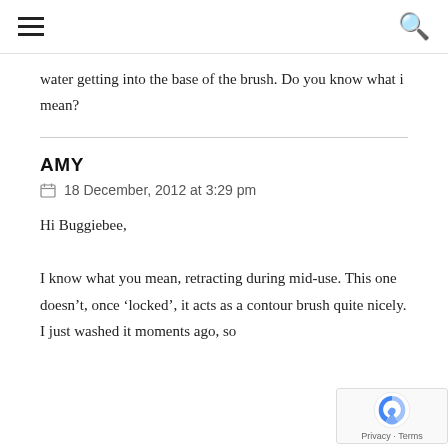water getting into the base of the brush. Do you know what i mean?
AMY
18 December, 2012 at 3:29 pm
Hi Buggiebee,
I know what you mean, retracting during mid-use. This one doesn't, once 'locked', it acts as a contour brush quite nicely. I just washed it moments ago, so